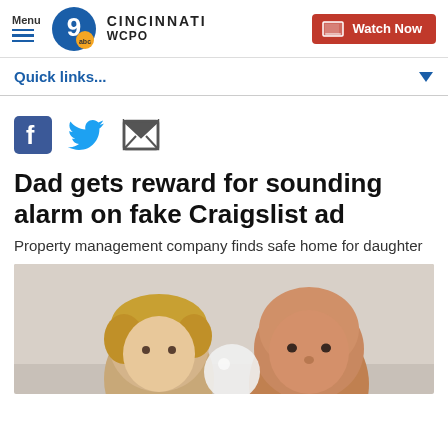Menu | 9 abc CINCINNATI WCPO | Watch Now
Quick links...
[Figure (other): Social media share icons: Facebook, Twitter, Email]
Dad gets reward for sounding alarm on fake Craigslist ad
Property management company finds safe home for daughter
[Figure (photo): Photo of a bald man holding a young child/baby, indoor setting with neutral background]